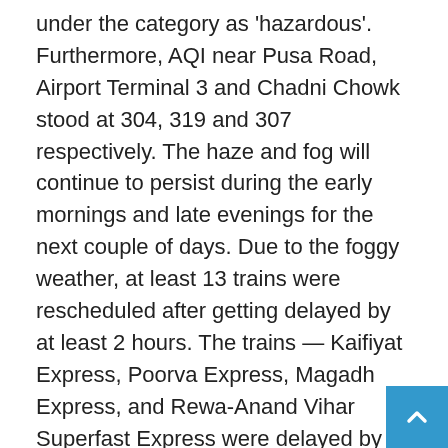under the category as 'hazardous'. Furthermore, AQI near Pusa Road, Airport Terminal 3 and Chadni Chowk stood at 304, 319 and 307 respectively. The haze and fog will continue to persist during the early mornings and late evenings for the next couple of days. Due to the foggy weather, at least 13 trains were rescheduled after getting delayed by at least 2 hours. The trains — Kaifiyat Express, Poorva Express, Magadh Express, and Rewa-Anand Vihar Superfast Express were delayed by 2 hours each. Owing to low visibility, the railways delayed Gaya Anand Vihar Garib Rath Express, Brahmaputtra Mail Express, Swatantra Senani Superfast Express and Purushottam Express by 3 hours, 5 hours, 3 hours, 4 hours and 4.30 hours respectively. Today, the minimum and maximum temperatures recorded in Delhi was 8 degree Celsius and 19 degree Celsius. The humidity in the region throughout